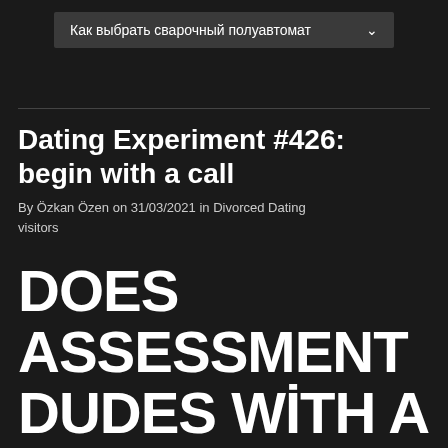[Figure (screenshot): Dropdown menu bar with Russian text: Как выбрать сварочный полуавтомат]
Dating Experiment #426: begin with a call
By Özkan Özen on 31/03/2021 in Divorced Dating visitors
DOES ASSESSMENT DUDES WITH A